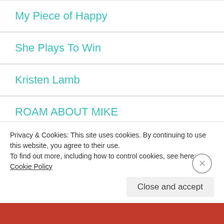My Piece of Happy
She Plays To Win
Kristen Lamb
ROAM ABOUT MIKE
the eff stop
Honie Briggs
Privacy & Cookies: This site uses cookies. By continuing to use this website, you agree to their use.
To find out more, including how to control cookies, see here: Cookie Policy
Close and accept